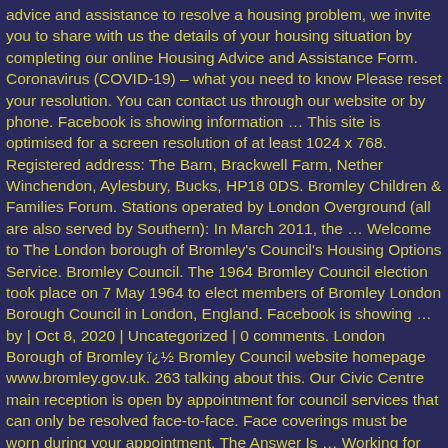advice and assistance to resolve a housing problem, we invite you to share with us the details of your housing situation by completing our online Housing Advice and Assistance Form. Coronavirus (COVID-19) – what you need to know Please reset your resolution. You can contact us through our website or by phone. Facebook is showing information … This site is optimised for a screen resolution of at least 1024 x 768. Registered address: The Barn, Brackwell Farm, Nether Winchendon, Aylesbury, Bucks, HP18 0DS. Bromley Children & Families Forum. Stations operated by London Overground (all are also served by Southern): In March 2011, the … Welcome to The London borough of Bromley's Council's Housing Options Service. Bromley Council. The 1964 Bromley Council election took place on 7 May 1964 to elect members of Bromley London Borough Council in London, England. Facebook is showing … by | Oct 8, 2020 | Uncategorized | 0 comments. London Borough of Bromley ï¿½ Bromley Council website homepage www.bromley.gov.uk. 263 talking about this. Our Civic Centre main reception is open by appointment for council services that can only be resolved face-to-face. Face coverings must be worn during your appointment. The Answer Is … Working for Bromley Council means you're contributing to our vision of Building a Better Bromley. Anti-Bullying Workshop. Through our structured approach and our extensive knowledge in the industry, we have helped numerous candidates find their way to council roles. The Bromley Borough Libraries Service